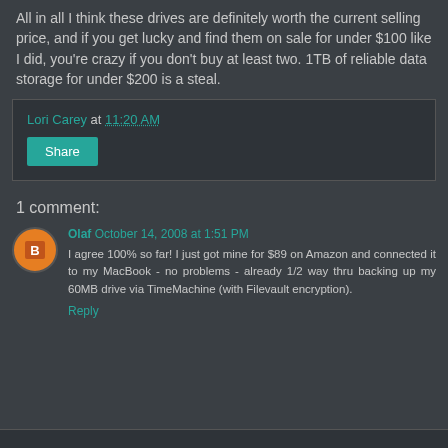All in all I think these drives are definitely worth the current selling price, and if you get lucky and find them on sale for under $100 like I did, you're crazy if you don't buy at least two. 1TB of reliable data storage for under $200 is a steal.
Lori Carey at 11:20 AM
Share
1 comment:
Olaf October 14, 2008 at 1:51 PM
I agree 100% so far! I just got mine for $89 on Amazon and connected it to my MacBook - no problems - already 1/2 way thru backing up my 60MB drive via TimeMachine (with Filevault encryption).
Reply